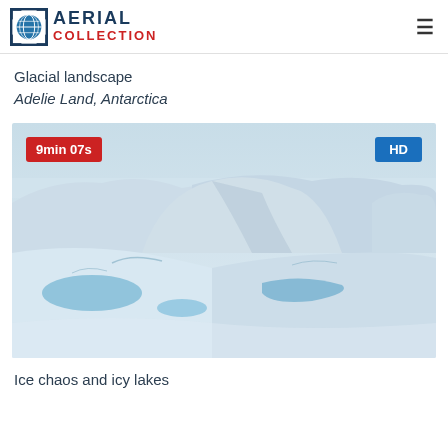AERIAL COLLECTION
Glacial landscape
Adelie Land, Antarctica
[Figure (photo): Aerial photograph of a glacial landscape in Adelie Land, Antarctica showing ice formations, icy lakes, and snow-covered terrain with blue meltwater pools. Overlaid badges show '9min 07s' in red and 'HD' in blue.]
Ice chaos and icy lakes